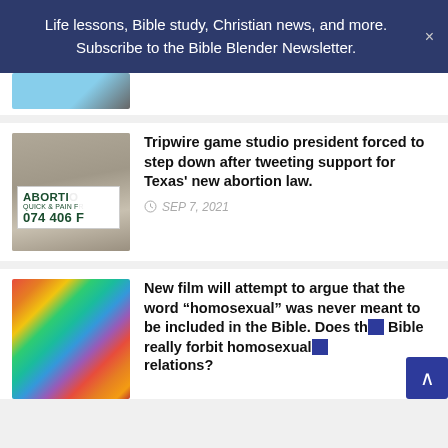Life lessons, Bible study, Christian news, and more. Subscribe to the Bible Blender Newsletter.
[Figure (photo): Partial view of a previous article image showing a street scene with blue sky]
[Figure (photo): A poster stapled to a pole reading ABORTION QUICK & PAIN FREE 074 406 F]
Tripwire game studio president forced to step down after tweeting support for Texas' new abortion law.
SEP 7, 2021
[Figure (photo): Colorful abstract painting depicting two figures embracing]
New film will attempt to argue that the word “homosexual” was never meant to be included in the Bible. Does th Bible really forbit homosexual relations?